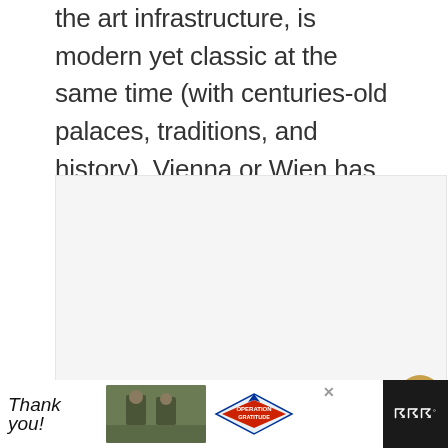the art infrastructure, is modern yet classic at the same time (with centuries-old palaces, traditions, and history). Vienna or Wien has a slightly modern outlook and is oh-so-trendy.
[Figure (photo): A light gray placeholder image area for a Vienna-related photo]
[Figure (screenshot): Heart (favorite) button - circular gold/tan button with heart icon]
[Figure (screenshot): Share button - circular white button with share icon]
[Figure (screenshot): What's Next panel showing 'What to wear in Vienna in...' with a thumbnail of a Vienna building]
[Figure (screenshot): Advertisement banner at the bottom: 'Thank you' with Operation Gratitude logo]